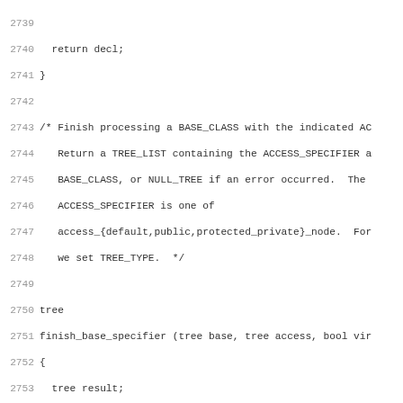Source code listing showing C++ function finish_base_specifier, lines 2739-2770
2739
2740   return decl;
2741 }
2742
2743 /* Finish processing a BASE_CLASS with the indicated AC
2744    Return a TREE_LIST containing the ACCESS_SPECIFIER a
2745    BASE_CLASS, or NULL_TREE if an error occurred.  The
2746    ACCESS_SPECIFIER is one of
2747    access_{default,public,protected_private}_node.  For
2748    we set TREE_TYPE.  */
2749
2750 tree
2751 finish_base_specifier (tree base, tree access, bool vir
2752 {
2753   tree result;
2754
2755   if (base == error_mark_node)
2756     {
2757       error ("invalid base-class specification");
2758       result = NULL_TREE;
2759     }
2760   else if (! MAYBE_CLASS_TYPE_P (base))
2761     {
2762       error ("%qT is not a class type", base);
2763       result = NULL_TREE;
2764     }
2765   else
2766     {
2767       if (cp_type_quals (base) != 0)
2768         {
2769           error ("base class %qT has cv qualifiers", ba
2770           base = TYPE_MAIN_VARIANT (base);